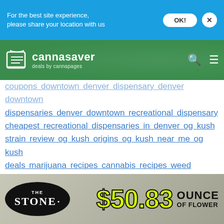For the best site experience, please share your location with us
[Figure (logo): Cannasaver deals by cannapages logo with white book icon on green background header with search and menu icons]
coupons downtown denver dispensary denver downtown dispensaries denver downtown recreational dispensary cheapest recreational dispensaries in denver og kush strain review og kush origins og kush near me og kush deals marijuana recipes cannabis recipes weed recipes cannabutter infused food edibles price marijuana pricing list edibles price per mg edibles prices colorado cannasaver deals near me the green solution coupons lightshade coupons denver dispensary deals near me denver shatter deals cbd isolate what is pure cbd isolate what is cbd good for cbd isolate effects denver international airport closest dispensary to dia high west cannabis ounce deals by denver airport terpenes terp juice cbd terpenes cannabis terpenes terpenoids marijuana
[Figure (infographic): The Stone dispensary ad banner showing black oval logo with THE STONE text, yellow-green price $50.83, and OUNCE OF FLOWER text on gray/cannabis leaf background]